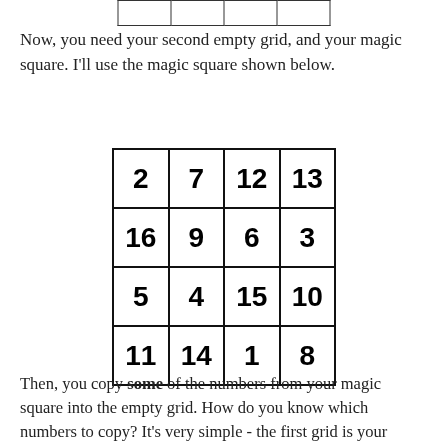|  |  |  |  |
Now, you need your second empty grid, and your magic square. I'll use the magic square shown below.
| 2 | 7 | 12 | 13 |
| 16 | 9 | 6 | 3 |
| 5 | 4 | 15 | 10 |
| 11 | 14 | 1 | 8 |
Then, you copy some of the numbers from your magic square into the empty grid. How do you know which numbers to copy? It's very simple - the first grid is your guide. You copy numbers into exactly the cells that have check marks in the first grid.